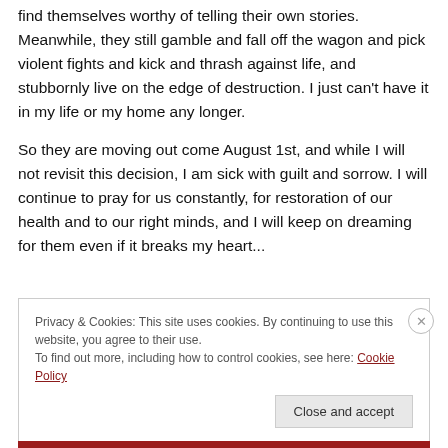find themselves worthy of telling their own stories. Meanwhile, they still gamble and fall off the wagon and pick violent fights and kick and thrash against life, and stubbornly live on the edge of destruction. I just can't have it in my life or my home any longer.
So they are moving out come August 1st, and while I will not revisit this decision, I am sick with guilt and sorrow. I will continue to pray for us constantly, for restoration of our health and to our right minds, and I will keep on dreaming for them even if it breaks my heart...
Privacy & Cookies: This site uses cookies. By continuing to use this website, you agree to their use.
To find out more, including how to control cookies, see here: Cookie Policy
Close and accept